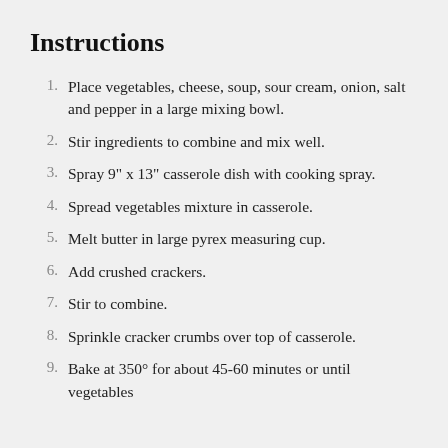Instructions
Place vegetables, cheese, soup, sour cream, onion, salt and pepper in a large mixing bowl.
Stir ingredients to combine and mix well.
Spray 9" x 13" casserole dish with cooking spray.
Spread vegetables mixture in casserole.
Melt butter in large pyrex measuring cup.
Add crushed crackers.
Stir to combine.
Sprinkle cracker crumbs over top of casserole.
Bake at 350° for about 45-60 minutes or until vegetables